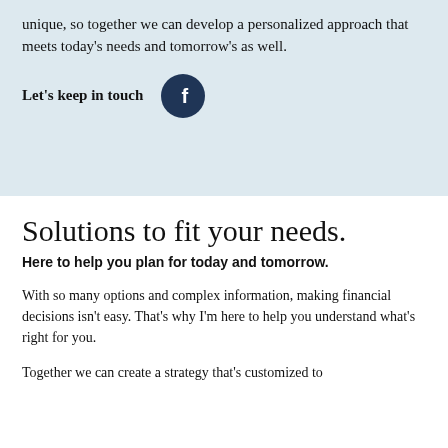unique, so together we can develop a personalized approach that meets today's needs and tomorrow's as well.
Let's keep in touch
[Figure (logo): Dark navy circular Facebook icon button with white 'f' letter]
Solutions to fit your needs.
Here to help you plan for today and tomorrow.
With so many options and complex information, making financial decisions isn't easy. That's why I'm here to help you understand what's right for you.
Together we can create a strategy that's customized to